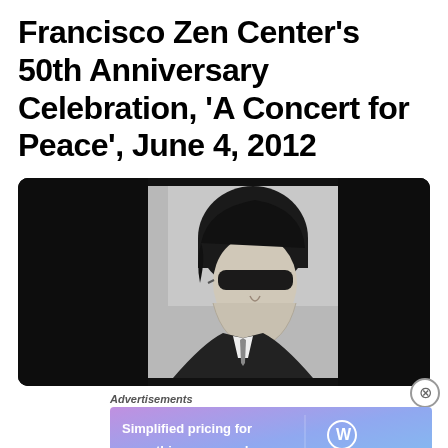Francisco Zen Center's 50th Anniversary Celebration, 'A Concert for Peace', June 4, 2012
[Figure (photo): Black and white photo of a man with medium-length dark hair wearing sunglasses and a dark suit with tie, shown from shoulders up, displayed inside a dark laptop/screen frame]
Advertisements
[Figure (infographic): WordPress.com advertisement banner with gradient purple-blue background reading 'Simplified pricing for everything you need.' with WordPress.com logo]